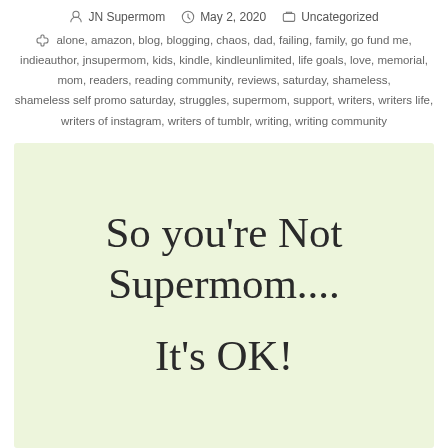JN Supermom   May 2, 2020   Uncategorized
alone, amazon, blog, blogging, chaos, dad, failing, family, go fund me, indieauthor, jnsupermom, kids, kindle, kindleunlimited, life goals, love, memorial, mom, readers, reading community, reviews, saturday, shameless, shameless self promo saturday, struggles, supermom, support, writers, writers life, writers of instagram, writers of tumblr, writing, writing community
[Figure (illustration): Light green background image with handwritten-style text reading 'So you're Not Supermom.... It's OK!']